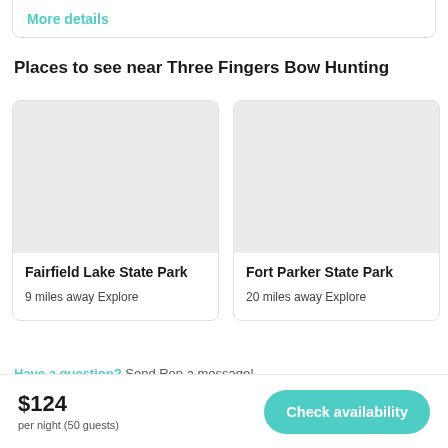More details
Places to see near Three Fingers Bow Hunting
[Figure (photo): Placeholder image for Fairfield Lake State Park]
Fairfield Lake State Park
9 miles away Explore
[Figure (photo): Placeholder image for Fort Parker State Park]
Fort Parker State Park
20 miles away Explore
Have a question? Send Ron a message!
$124 per night (50 guests)
Check availability